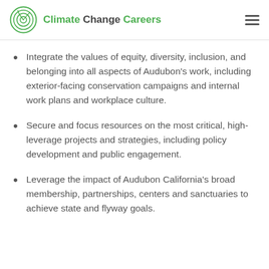Climate Change Careers
Integrate the values of equity, diversity, inclusion, and belonging into all aspects of Audubon's work, including exterior-facing conservation campaigns and internal work plans and workplace culture.
Secure and focus resources on the most critical, high-leverage projects and strategies, including policy development and public engagement.
Leverage the impact of Audubon California's broad membership, partnerships, centers and sanctuaries to achieve state and flyway goals.